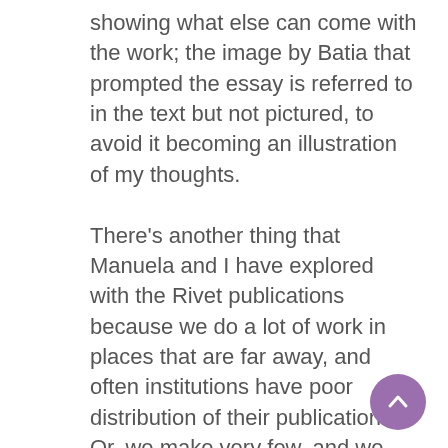showing what else can come with the work; the image by Batia that prompted the essay is referred to in the text but not pictured, to avoid it becoming an illustration of my thoughts. There's another thing that Manuela and I have explored with the Rivet publications because we do a lot of work in places that are far away, and often institutions have poor distribution of their publications. Or, we make very few, and we run out. You want to give publications to your colleagues or peers but can't because of those constraints. Our Rivet website, has most of the texts that we've made in parallel to exhibitions available in PDF format, downloadable. It's also emphasizing this idea that they exist